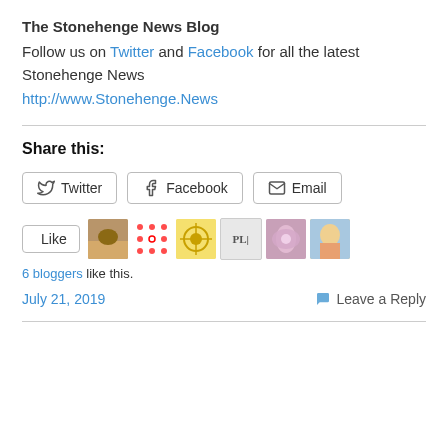The Stonehenge News Blog
Follow us on Twitter and Facebook for all the latest Stonehenge News
http://www.Stonehenge.News
Share this:
[Figure (other): Share buttons: Twitter, Facebook, Email]
[Figure (other): Like button with 6 blogger avatar thumbnails and '6 bloggers like this.' text]
July 21, 2019   Leave a Reply